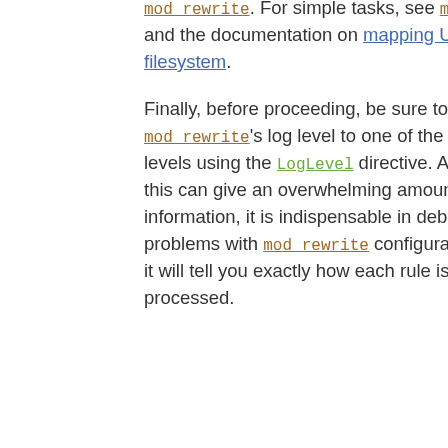mod_rewrite. For simple tasks, see mod_alias and the documentation on mapping URLs to the filesystem.
Finally, before proceeding, be sure to configure mod_rewrite's log level to one of the trace levels using the LogLevel directive. Although this can give an overwhelming amount of information, it is indispensable in debugging problems with mod_rewrite configuration, since it will tell you exactly how each rule is processed.
Regular Expressions